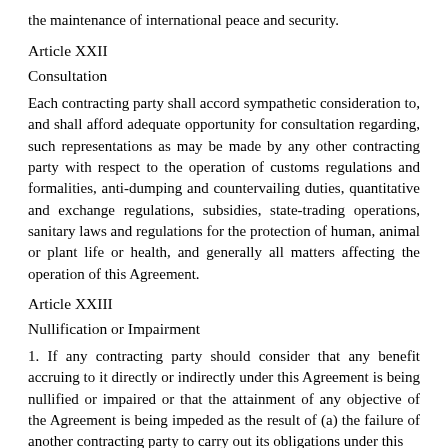the maintenance of international peace and security.
Article XXII
Consultation
Each contracting party shall accord sympathetic consideration to, and shall afford adequate opportunity for consultation regarding, such representations as may be made by any other contracting party with respect to the operation of customs regulations and formalities, anti-dumping and countervailing duties, quantitative and exchange regulations, subsidies, state-trading operations, sanitary laws and regulations for the protection of human, animal or plant life or health, and generally all matters affecting the operation of this Agreement.
Article XXIII
Nullification or Impairment
1. If any contracting party should consider that any benefit accruing to it directly or indirectly under this Agreement is being nullified or impaired or that the attainment of any objective of the Agreement is being impeded as the result of (a) the failure of another contracting party to carry out its obligations under this Agreement, or (b) the application by another contracting party of